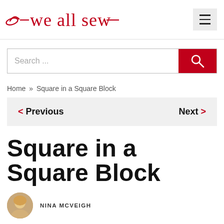we all sew
Search ...
Home » Square in a Square Block
< Previous   Next >
Square in a Square Block
NINA MCVEIGH